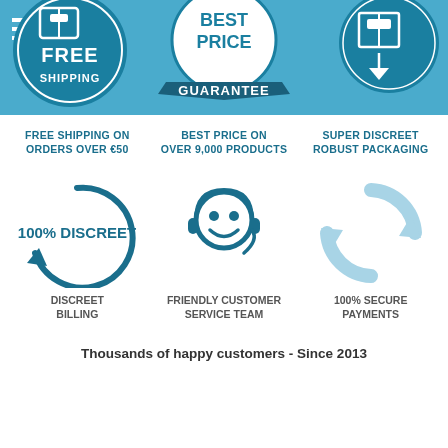[Figure (infographic): Blue header bar with hamburger menu icon, FREE SHIPPING badge circle, BEST PRICE GUARANTEE badge, package icon circle, and search icon]
FREE SHIPPING ON ORDERS OVER €50
BEST PRICE ON OVER 9,000 PRODUCTS
SUPER DISCREET ROBUST PACKAGING
[Figure (infographic): 100% DISCREET circular arrow icon with text 100% DISCREET inside]
DISCREET BILLING
[Figure (infographic): Friendly customer service team icon - cartoon face with headset]
FRIENDLY CUSTOMER SERVICE TEAM
[Figure (infographic): Light blue circular arrows icon for secure payments]
100% SECURE PAYMENTS
Thousands of happy customers - Since 2013